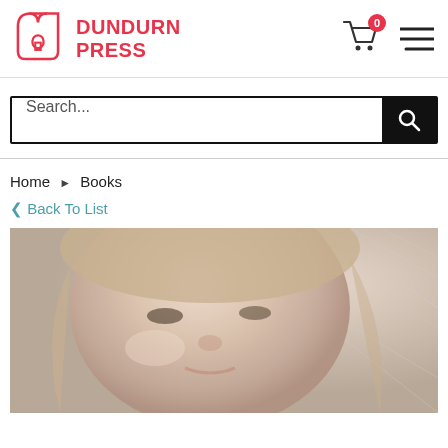[Figure (logo): Dundurn Press logo with tag-shaped icon and red text]
Search...
Home ▶ Books
< Back To List
[Figure (photo): Close-up sepia-toned photo of a young blonde woman looking sideways]